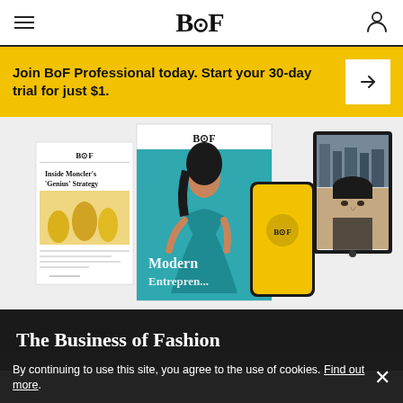BoF
Join BoF Professional today. Start your 30-day trial for just $1.
[Figure (screenshot): BoF product mockups showing magazine covers, a mobile phone with yellow BoF app, and a tablet showing the BoF website. Magazine cover shows a woman in teal dress with text 'Modern Entrepreneur'. A print edition shows 'Inside Moncler's Genius Strategy'.]
The Business of Fashion
By continuing to use this site, you agree to the use of cookies. Find out more.